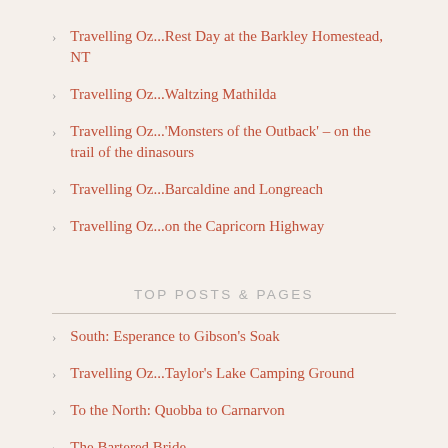Travelling Oz...Rest Day at the Barkley Homestead, NT
Travelling Oz...Waltzing Mathilda
Travelling Oz...'Monsters of the Outback' – on the trail of the dinasours
Travelling Oz...Barcaldine and Longreach
Travelling Oz...on the Capricorn Highway
TOP POSTS & PAGES
South: Esperance to Gibson's Soak
Travelling Oz...Taylor's Lake Camping Ground
To the North: Quobba to Carnarvon
The Bartered Bride
Out of Home Adventures: Day 13
Kalbarri/wildflower trip: Days 12 and 13